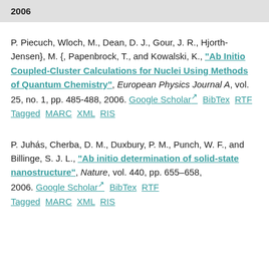2006
P. Piecuch, Wloch, M., Dean, D. J., Gour, J. R., Hjorth-Jensen}, M. {, Papenbrock, T., and Kowalski, K., "Ab Initio Coupled-Cluster Calculations for Nuclei Using Methods of Quantum Chemistry", European Physics Journal A, vol. 25, no. 1, pp. 485-488, 2006. Google Scholar BibTex RTF Tagged MARC XML RIS
P. Juhás, Cherba, D. M., Duxbury, P. M., Punch, W. F., and Billinge, S. J. L., "Ab initio determination of solid-state nanostructure", Nature, vol. 440, pp. 655-658, 2006. Google Scholar BibTex RTF Tagged MARC XML RIS